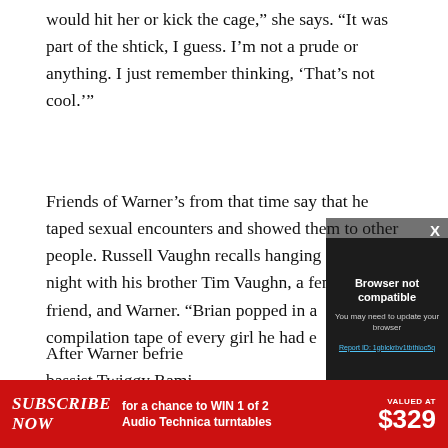would hit her or kick the cage,” she says. “It was part of the shtick, I guess. I’m not a prude or anything. I just remember thinking, ‘That’s not cool.’”
Friends of Warner’s from that time say that he taped sexual encounters and showed them to other people. Russell Vaughn recalls hanging out one night with his brother Tim Vaughn, a female friend, and Warner. “Brian popped in a compilation tape of every girl he had e… he says. “He was pr… friend, who asked to… tape to Rolling Stone…
[Figure (screenshot): Modal dialog overlay on dark background with title 'Browser not compatible', subtitle 'You may need to update your browser', a report ID link 'Report ID: 1gblckrbv1tbthioc5q', and an X close button in top right corner.]
After Warner befrie… bassist Twiggy Rami… who worked at their …
[Figure (infographic): Red advertisement banner: SUBSCRIBE NOW for a chance to WIN 1 of 2 Audio Technica turntables VALUED AT $329]